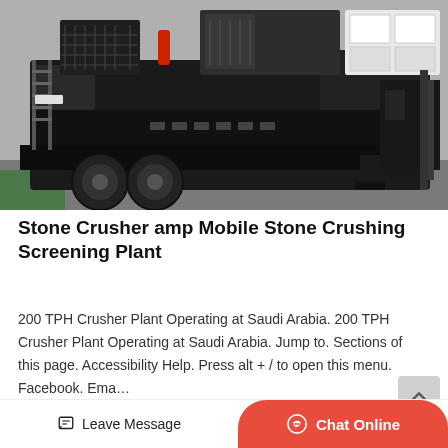[Figure (photo): Mobile stone crusher and screening plant — large black heavy machinery on wheeled trailer in an industrial facility, with yellow floor markings visible.]
Stone Crusher amp Mobile Stone Crushing Screening Plant
200 TPH Crusher Plant Operating at Saudi Arabia. 200 TPH Crusher Plant Operating at Saudi Arabia. Jump to. Sections of this page. Accessibility Help. Press alt + / to open this menu. Facebook. Ema…
Get Price
Leave Message
Chat Online